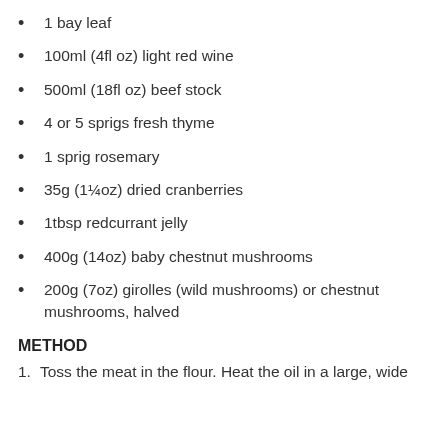1 bay leaf
100ml (4fl oz) light red wine
500ml (18fl oz) beef stock
4 or 5 sprigs fresh thyme
1 sprig rosemary
35g (1¼oz) dried cranberries
1tbsp redcurrant jelly
400g (14oz) baby chestnut mushrooms
200g (7oz) girolles (wild mushrooms) or chestnut mushrooms, halved
METHOD
Toss the meat in the flour. Heat the oil in a large, wide